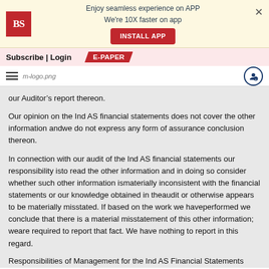Enjoy seamless experience on APP
We're 10X faster on app
INSTALL APP
Subscribe | Login  E-PAPER
m-logo.png [menu] [user icon]
our Auditor's report thereon.
Our opinion on the Ind AS financial statements does not cover the other information andwe do not express any form of assurance conclusion thereon.
In connection with our audit of the Ind AS financial statements our responsibility isto read the other information and in doing so consider whether such other information ismaterially inconsistent with the financial statements or our knowledge obtained in theaudit or otherwise appears to be materially misstated. If based on the work we haveperformed we conclude that there is a material misstatement of this other information; weare required to report that fact. We have nothing to report in this regard.
Responsibilities of Management for the Ind AS Financial Statements